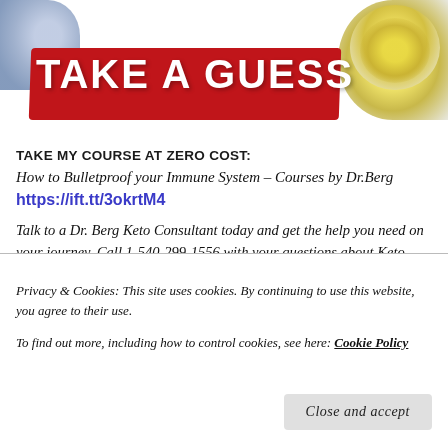[Figure (photo): Top banner image with red brush-stroke background containing 'TAKE A GUESS' text in white bold letters, with food items visible (oil bowl on right, blue element on left)]
TAKE MY COURSE AT ZERO COST:
How to Bulletproof your Immune System – Courses by Dr.Berg
https://ift.tt/3okrtM4
Talk to a Dr. Berg Keto Consultant today and get the help you need on your journey. Call 1-540-299-1556 with your questions about Keto, Intermittent Fasting or the use of Dr. Berg products. Consultants are available Monday through Friday from 8 am to 10 pm EST. Saturday & Sunday from 9 am to 6
Privacy & Cookies: This site uses cookies. By continuing to use this website, you agree to their use.
To find out more, including how to control cookies, see here: Cookie Policy
Close and accept
https://ift.tt/3fFBbpw